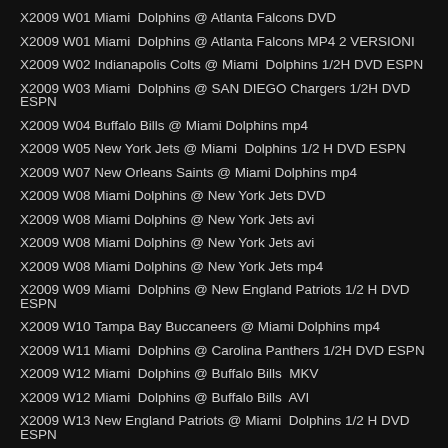X2009 W01 Miami  Dolphins @ Atlanta Falcons DVD
X2009 W01 Miami  Dolphins @ Atlanta Falcons MP4 2 VERSIONI
X2009 W02 Indianapolis Colts @ Miami  Dolphins 1/2H DVD ESPN
X2009 W03 Miami  Dolphins @ SAN DIEGO Chargers 1/2H DVD ESPN
X2009 W04 Buffalo Bills @ Miami Dolphins mp4
X2009 W05 New York Jets @ Miami  Dolphins 1/2 H DVD ESPN
X2009 W07 New Orleans Saints @ Miami Dolphins mp4
X2009 W08 Miami Dolphins @ New York Jets DVD
X2009 W08 Miami Dolphins @ New York Jets avi
X2009 W08 Miami Dolphins @ New York Jets avi
X2009 W08 Miami Dolphins @ New York Jets mp4
X2009 W09 Miami  Dolphins @ New England Patriots 1/2 H DVD ESPN
X2009 W10 Tampa Bay Buccaneers @ Miami Dolphins mp4
X2009 W11 Miami  Dolphins @ Carolina Panthers 1/2H DVD ESPN
X2009 W12 Miami  Dolphins @ Buffalo Bills  MKV
X2009 W12 Miami  Dolphins @ Buffalo Bills  AVI
X2009 W13 New England Patriots @ Miami  Dolphins 1/2 H DVD ESPN